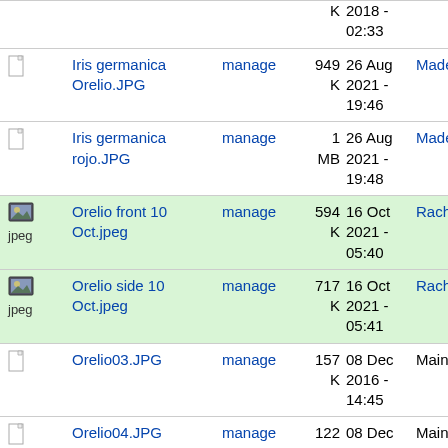| Icon | Name | Action | Size | Date | Author |
| --- | --- | --- | --- | --- | --- |
|  |  |  | K | 2018 -
02:33 |  |
|  | Iris germanica Orelio.JPG | manage | 949 K | 26 Aug 2021 -
19:46 | Madela |
|  | Iris germanica rojo.JPG | manage | 1 MB | 26 Aug 2021 -
19:48 | Madela |
| jpeg | Orelio front 10 Oct.jpeg | manage | 594 K | 16 Oct 2021 -
05:40 | Rachel |
| jpeg | Orelio side 10 Oct.jpeg | manage | 717 K | 16 Oct 2021 -
05:41 | Rachel |
|  | Orelio03.JPG | manage | 157 K | 08 Dec 2016 -
14:45 | Main.Th |
|  | Orelio04.JPG | manage | 122 K | 08 Dec 2016 -
14:43 | Main.Th |
|  | Orelio11.JPG | manage | 114 | 26 Aug | Main.Th |